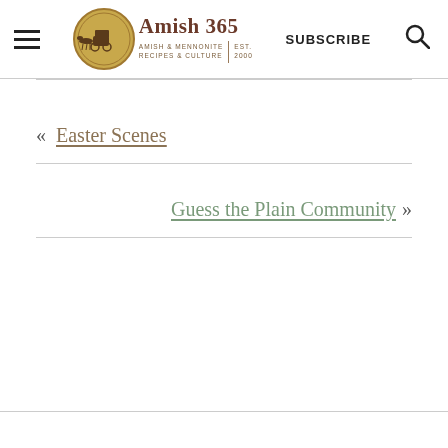Amish 365 — Amish & Mennonite Recipes & Culture | EST. 2000 | SUBSCRIBE
« Easter Scenes
Guess the Plain Community »